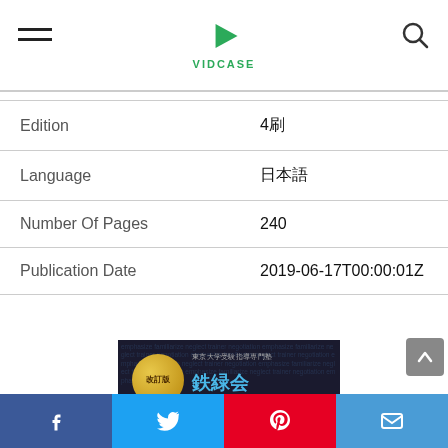VIDCASE
| Field | Value |
| --- | --- |
| Edition | 4刷 |
| Language | 日本語 |
| Number Of Pages | 240 |
| Publication Date | 2019-06-17T00:00:01Z |
[Figure (photo): Book cover: 改訂版 鉄緑会 東大英単語熟語 鉄壁 — dark navy background with gold badge, blue Japanese title text, white large Japanese characters, red subtitle]
Facebook | Twitter | Pinterest | Email share buttons